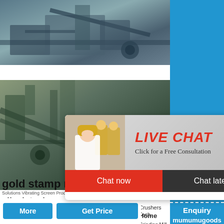[Figure (photo): Industrial mining/quarrying machinery and conveyor belts at a stone crushing site, top photo]
[Figure (photo): Industrial mining machinery with conveyor belts and processing equipment, bottom photo with live chat overlay]
[Figure (infographic): Live chat popup overlay with workers in hard hats, LIVE CHAT title in red italic, 'Click for a Free Consultation' subtitle, Chat now (red) and Chat later (dark) buttons]
gold stamp mill zimbabwe
Solutions Vibrating Screen Production Equipment Grinding
silesiatech
Including 1-Series stamp. Fine for side Grinding Mill,
2022-1-4   gold stamp mill zimbabwe Premium
Ball/Blog/Raymond/Miller/NT/Wheel/Series/European
Crushers Tech.
Home
Grinding Mill.
Process
hour online
Click me to chat>>
Enquiry
mumumugoods
More
Get Price